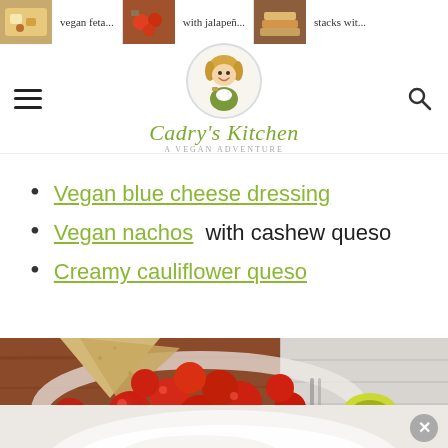vegan feta... | with jalapeñ... | stacks wit...
Cadry's Kitchen - A Vegan Adventure
Vegan blue cheese dressing
Vegan nachos with cashew queso
Creamy cauliflower queso
[Figure (photo): Close-up photo of cherry tomatoes, pita chips/crackers, and jalapeño slices on a plate with a white bowl visible, on a rustic wooden surface]
[Figure (photo): Partial view of a white bowl with a creamy white dip/sauce]